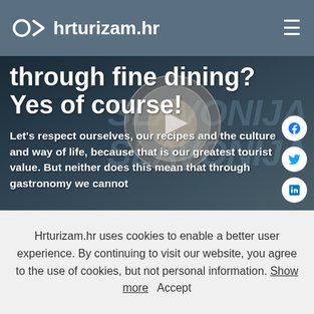hrturizam.hr
through fine dining? Yes of course!
Let's respect ourselves, our recipes and the culture and way of life, because that is our greatest tourist value. But neither does this mean that through gastronomy we cannot
Hrturizam.hr uses cookies to enable a better user experience. By continuing to visit our website, you agree to the use of cookies, but not personal information. Show more  Accept